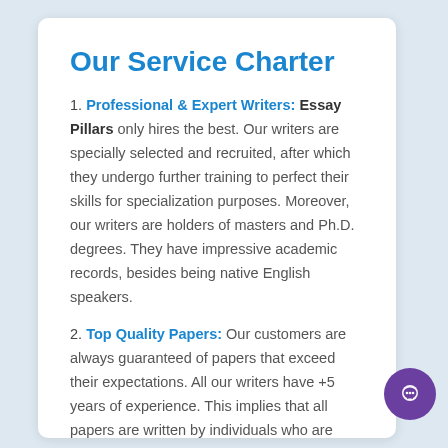Our Service Charter
1. Professional & Expert Writers: Essay Pillars only hires the best. Our writers are specially selected and recruited, after which they undergo further training to perfect their skills for specialization purposes. Moreover, our writers are holders of masters and Ph.D. degrees. They have impressive academic records, besides being native English speakers.
2. Top Quality Papers: Our customers are always guaranteed of papers that exceed their expectations. All our writers have +5 years of experience. This implies that all papers are written by individuals who are